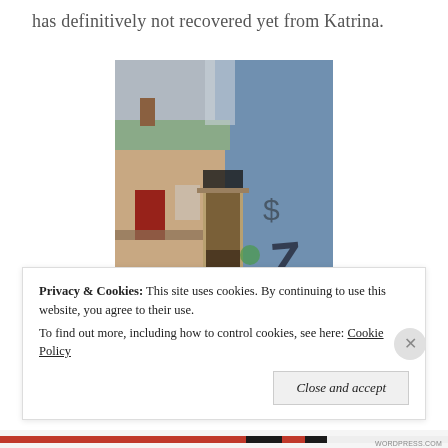has definitively not recovered yet from Katrina.
[Figure (photo): Photograph of an abandoned building with blue concrete block walls covered in graffiti. A deteriorated doorway is visible, and an older house with a red door can be seen in the background. The area appears neglected with overgrown grass.]
Privacy & Cookies: This site uses cookies. By continuing to use this website, you agree to their use.
To find out more, including how to control cookies, see here: Cookie Policy